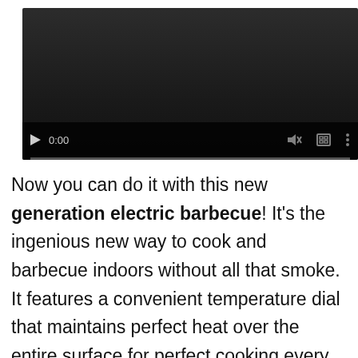[Figure (screenshot): A video player with dark background, showing controls: play button, time display '0:00', mute icon, fullscreen icon, and more options icon. A progress bar is visible at the bottom.]
Now you can do it with this new generation electric barbecue! It's the ingenious new way to cook and barbecue indoors without all that smoke. It features a convenient temperature dial that maintains perfect heat over the entire surface for perfect cooking every time